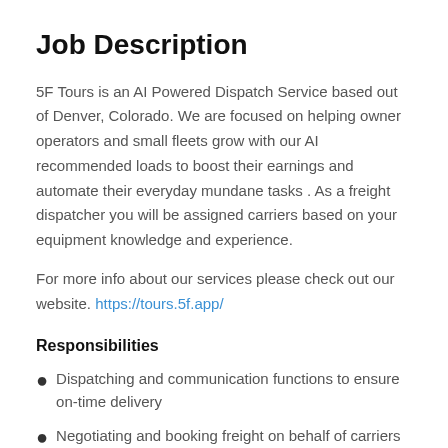Job Description
5F Tours is an AI Powered Dispatch Service based out of Denver, Colorado. We are focused on helping owner operators and small fleets grow with our AI recommended loads to boost their earnings and automate their everyday mundane tasks . As a freight dispatcher you will be assigned carriers based on your equipment knowledge and experience.
For more info about our services please check out our website. https://tours.5f.app/
Responsibilities
Dispatching and communication functions to ensure on-time delivery
Negotiating and booking freight on behalf of carriers